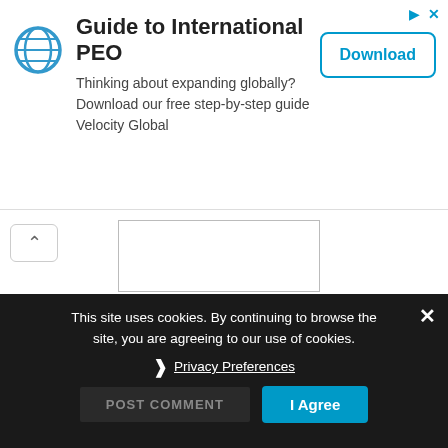[Figure (infographic): Advertisement banner for Velocity Global's Guide to International PEO. Contains a blue globe/shield logo icon, headline 'Guide to International PEO', body text 'Thinking about expanding globally? Download our free step-by-step guide Velocity Global', and a 'Download' button. Top-right corner has a play/arrow icon and an X close button in blue.]
Email *
Website
This site uses cookies. By continuing to browse the site, you are agreeing to our use of cookies.
Privacy Preferences
POST COMMENT
I Agree